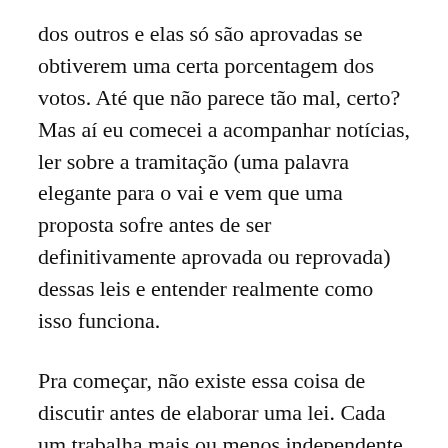dos outros e elas só são aprovadas se obtiverem uma certa porcentagem dos votos. Até que não parece tão mal, certo? Mas aí eu comecei a acompanhar notícias, ler sobre a tramitação (uma palavra elegante para o vai e vem que uma proposta sofre antes de ser definitivamente aprovada ou reprovada) dessas leis e entender realmente como isso funciona.
Pra começar, não existe essa coisa de discutir antes de elaborar uma lei. Cada um trabalha mais ou menos independente, e propõe leis ao seu bel prazer. Às vezes acontece de um grupo elaborar alguma lei, mas em geral, as leis têm como autor uma pessoa só. Bom, vamos supor que todos estejam interessados no bem comum